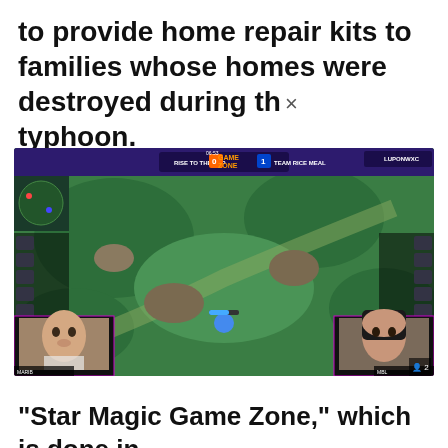to provide home repair kits to families whose homes were destroyed during the typhoon.
[Figure (screenshot): Mobile Legends: Bang Bang game screenshot showing a match between 'Rise to the Top' (score 0) and 'Team Rice Meal' (score 1) in 'Game Zone'. The score shows 06:53 game time. Two webcam overlays show players: a young man on the bottom left labeled 'MARIB' and a young woman on the bottom right. The game shows a top-down view of the battlefield with character sprites. The stream appears to be by LUPONWXC.]
“Star Magic Game Zone,” which is done in